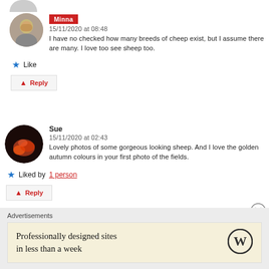[Figure (photo): Partial view of a circular avatar at the top, greyed out]
Minna
15/11/2020 at 08:48
I have no checked how many breeds of cheep exist, but I assume there are many. I love too see sheep too.
Like
Reply
Sue
15/11/2020 at 02:43
Lovely photos of some gorgeous looking sheep. And I love the golden autumn colours in your first photo of the fields.
Liked by 1 person
Reply
Advertisements
Professionally designed sites in less than a week